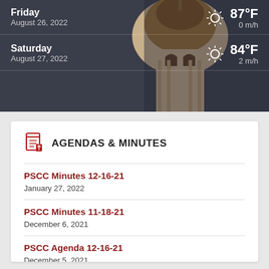[Figure (photo): Weather widget showing a government building dome on a dark background with weather forecasts for Friday August 26 2022 (87°F, 0 m/h) and Saturday August 27 2022 (84°F, 2 m/h)]
AGENDAS & MINUTES
PSCC Minutes 12-16-21
January 27, 2022
PSCC Minutes 11-18-21
December 6, 2021
PSCC Agenda 12-16-21
December 5, 2021
PSCC Agenda 11-18-21
November 4, 2021
MORE DOCUMENTS